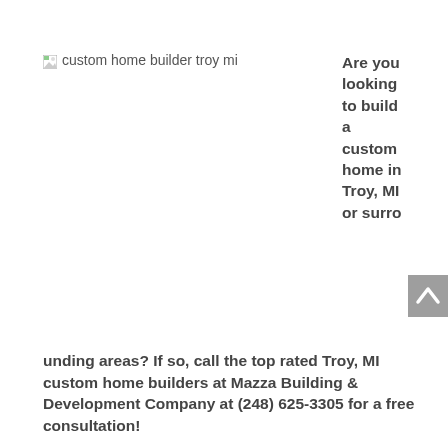[Figure (other): Broken image placeholder with alt text 'custom home builder troy mi']
Are you looking to build a custom home in Troy, MI or surrounding areas? If so, call the top rated Troy, MI custom home builders at Mazza Building & Development Company at (248) 625-3305 for a free consultation!